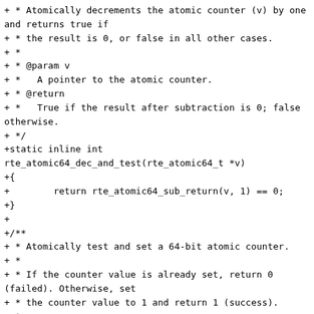+ * Atomically decrements the atomic counter (v) by one and returns true if
+ * the result is 0, or false in all other cases.
+ *
+ * @param v
+ *   A pointer to the atomic counter.
+ * @return
+ *   True if the result after subtraction is 0; false otherwise.
+ */
+static inline int
rte_atomic64_dec_and_test(rte_atomic64_t *v)
+{
+        return rte_atomic64_sub_return(v, 1) == 0;
+}
+
+/**
+ * Atomically test and set a 64-bit atomic counter.
+ *
+ * If the counter value is already set, return 0 (failed). Otherwise, set
+ * the counter value to 1 and return 1 (success).
+ *
+ * @param v
+ *   A pointer to the atomic counter.
+ * @return
+ *   0 if failed; else 1, success.
+ */
+static inline int
rte_atomic64_test_and_set(rte_atomic64_t *v)